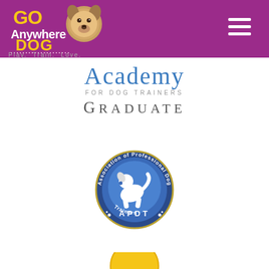[Figure (logo): Go Anywhere Dog logo with dog face and colorful text on purple background]
Play.  Train.  Love.
[Figure (logo): Academy for Dog Trainers Graduate logo in blue serif font]
[Figure (logo): APDT Association of Professional Dog Trainers circular badge logo in blue and gold]
[Figure (logo): Partial yellow circular logo at bottom of page]